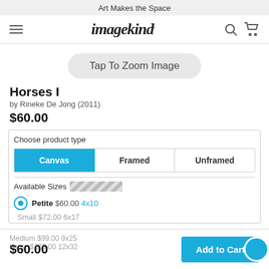Art Makes the Space
[Figure (screenshot): Imagekind logo with hamburger menu, search and cart icons]
Tap To Zoom Image
Horses I
by Rineke De Jong (2011)
$60.00
Choose product type
Canvas | Framed | Unframed
Available Sizes inches / cm
Petite $60.00 4x10
Small $72.00 6x17
Medium $99.00 9x25
Large $129.00 12x32
$60.00
Add to Cart